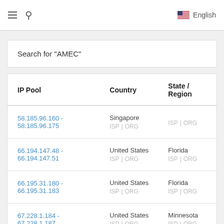≡ 🔍  English
Search for "AMEC"
| IP Pool | Country | State / Region |
| --- | --- | --- |
| 58.185.96.160 - 58.185.96.175 | Singapore
ISP | ORG | ISP | ORG |
| 66.194.147.48 - 66.194.147.51 | United States
ISP | ORG | Florida
ISP | ORG |
| 66.195.31.180 - 66.195.31.183 | United States
ISP | ORG | Florida
ISP | ORG |
| 67.228.1.184 - 67.228.1.187 | United States
ISP | ORG | Minnesota
ISP | ORG |
| 144.195.9.9 - 144.195.255.255 | United States | Georgia |